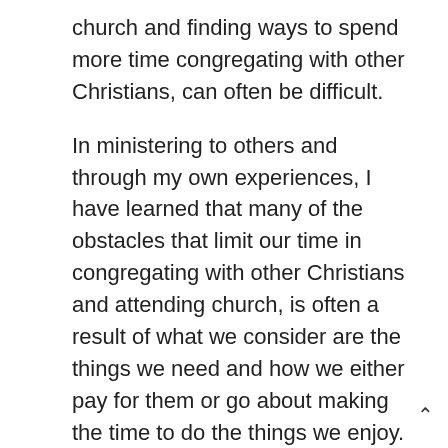church and finding ways to spend more time congregating with other Christians, can often be difficult.
In ministering to others and through my own experiences, I have learned that many of the obstacles that limit our time in congregating with other Christians and attending church, is often a result of what we consider are the things we need and how we either pay for them or go about making the time to do the things we enjoy.
My advice to my friend and to everyone who is committed to following God’s path.  It is obvious that Satan has a very short time left and his path leads to misery and eternal damnation.  To avoid being